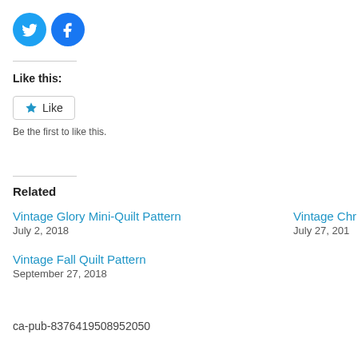[Figure (other): Twitter and Facebook social share icon buttons (blue circles with bird and f logos)]
Like this:
[Figure (other): Like button with star icon]
Be the first to like this.
Related
Vintage Glory Mini-Quilt Pattern
July 2, 2018
Vintage Chr
July 27, 201
Vintage Fall Quilt Pattern
September 27, 2018
ca-pub-8376419508952050